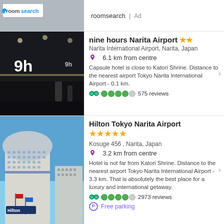[Figure (photo): roomsearch ad banner with logo]
roomsearch | Ad
[Figure (photo): nine hours Narita Airport interior - dark capsule hotel with 9h logo sign]
nine hours Narita Airport ★★
Narita International Airport, Narita, Japan
6.1 km from centre
Capsule hotel is close to Katori Shrine. Distance to the nearest airport Tokyo Narita International Airport - 0.1 km.
575 reviews
[Figure (photo): Hilton Tokyo Narita Airport exterior building with blue sky]
Hilton Tokyo Narita Airport ★★★★★
Kosuge 456 , Narita, Japan
3.2 km from centre
Hotel is not far from Katori Shrine. Distance to the nearest airport Tokyo Narita International Airport - 3.3 km. That is absolutely the best place for a luxury and international getaway.
2973 reviews
Free parking
[Figure (photo): Welco Narita hotel room interior]
Welco Narita ★★★
Hanazakicho 818-1, Narita, Japan